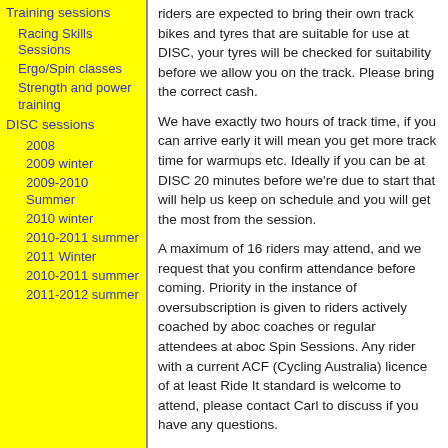Training sessions
Racing Skills Sessions
Ergo/Spin classes
Strength and power training
DISC sessions
2008
2009 winter
2009-2010 Summer
2010 winter
2010-2011 summer
2011 Winter
2010-2011 summer
2011-2012 summer
riders are expected to bring their own track bikes and tyres that are suitable for use at DISC, your tyres will be checked for suitability before we allow you on the track.  Please bring the correct cash.
We have exactly two hours of track time, if you can arrive early it will mean you get more track time for warmups etc.  Ideally if you can be at DISC 20 minutes before we're due to start that will help us keep on schedule and you will get the most from the session.
A maximum of 16 riders may attend, and we request that you confirm attendance before coming.  Priority in the instance of oversubscription is given to riders actively coached by aboc coaches or regular attendees at aboc Spin Sessions.  Any rider with a current ACF (Cycling Australia) licence of at least Ride It standard is welcome to attend, please contact Carl to discuss if you have any questions.
The program for this session :